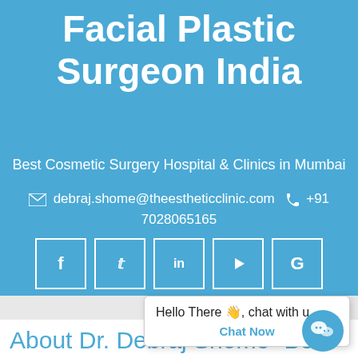Facial Plastic Surgeon India
Best Cosmetic Surgery Hospital & Clinics in Mumbai
debraj.shome@theestheticclinic.com  +91 7028065165
[Figure (other): Social media icons row: Facebook, Twitter, LinkedIn, YouTube, Google]
[Figure (screenshot): Chat popup: Hello There, chat with u / Chat Now button]
About Dr. Debraj Shome- Best